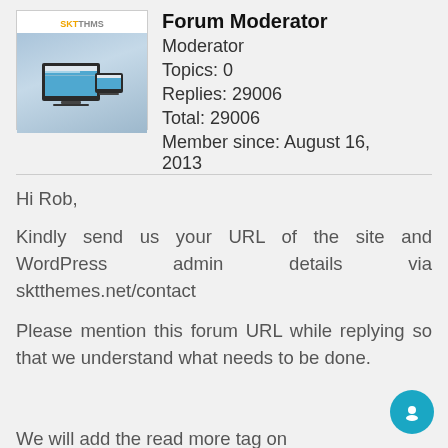[Figure (screenshot): Avatar/logo image for Forum Moderator showing a laptop and tablet with a website displayed, with SKT Themes branding at top]
Forum Moderator
Moderator
Topics: 0
Replies: 29006
Total: 29006
Member since: August 16, 2013
Hi Rob,
Kindly send us your URL of the site and WordPress admin details via sktthemes.net/contact
Please mention this forum URL while replying so that we understand what needs to be done.
We will add the read more tag on